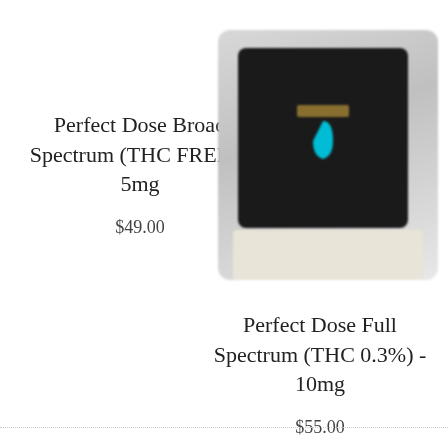Perfect Dose Broad Spectrum (THC FREE) - 5mg
$49.00
[Figure (photo): Blurred product image of a small black package with a blue droplet logo, placed on a light gray/white surface background.]
Perfect Dose Full Spectrum (THC 0.3%) - 10mg
$55.00